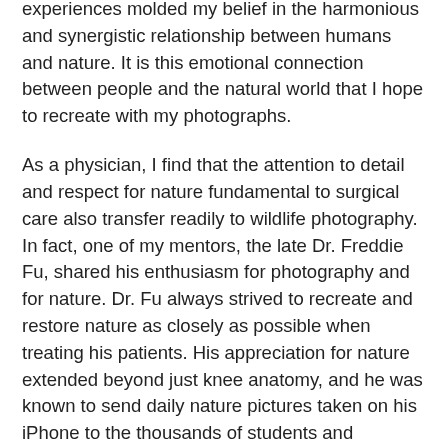experiences molded my belief in the harmonious and synergistic relationship between humans and nature. It is this emotional connection between people and the natural world that I hope to recreate with my photographs.
As a physician, I find that the attention to detail and respect for nature fundamental to surgical care also transfer readily to wildlife photography. In fact, one of my mentors, the late Dr. Freddie Fu, shared his enthusiasm for photography and for nature. Dr. Fu always strived to recreate and restore nature as closely as possible when treating his patients. His appreciation for nature extended beyond just knee anatomy, and he was known to send daily nature pictures taken on his iPhone to the thousands of students and physicians he trained.